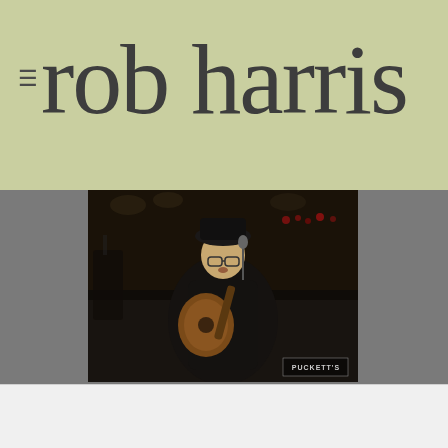rob harris
[Figure (photo): Concert photo of a male performer playing acoustic guitar on stage at Puckett's in Leiper's Fork, TN. The performer is wearing a dark jacket and hat, singing into a microphone. Stage lights visible in the background. Puckett's logo visible in lower right corner of the image.]
Puckett's in Leiper's Fork, TN
Chattaroy Holler  $1.29